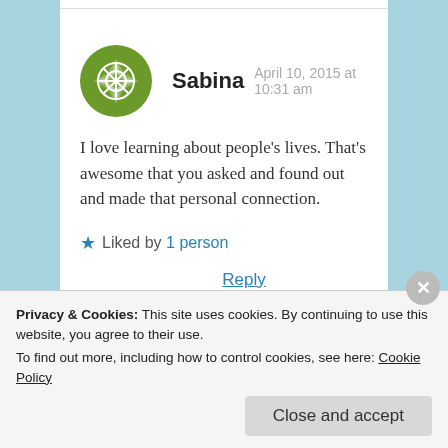Sabina  April 10, 2015 at 10:31 am
I love learning about people's lives. That's awesome that you asked and found out and made that personal connection.
★ Liked by 1 person
Reply
Pingback: On The #AtoZChallenge | Victim to Charm
Privacy & Cookies: This site uses cookies. By continuing to use this website, you agree to their use.
To find out more, including how to control cookies, see here: Cookie Policy
Close and accept